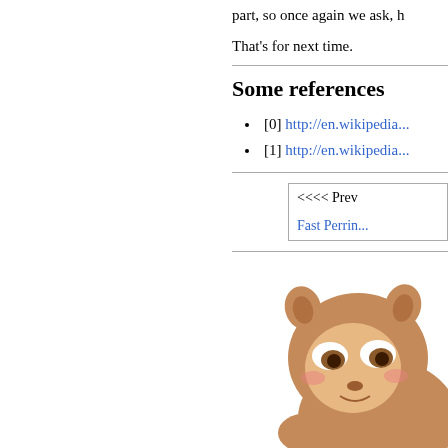part, so once again we ask, h
That's for next time.
Some references
[0] http://en.wikipedia...
[1] http://en.wikipedia...
| <<<< Prev |
| Fast Perrin... |
[Figure (illustration): Cartoon character illustration, partially visible in bottom-right corner]